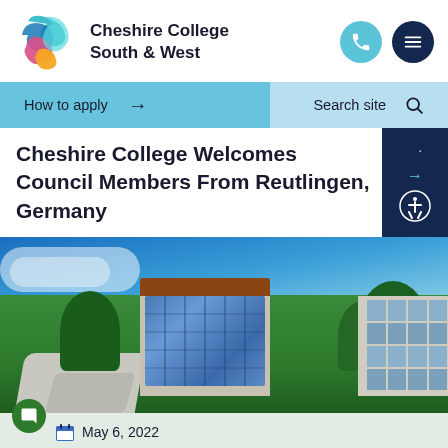Cheshire College South & West
How to apply → Search site 🔍
Cheshire College Welcomes Council Members From Reutlingen, Germany
[Figure (photo): Exterior photo of Cheshire College building with large glass facade, red/copper roof, green trees, and students sitting on outdoor steps and lawn on a sunny day.]
May 6, 2022